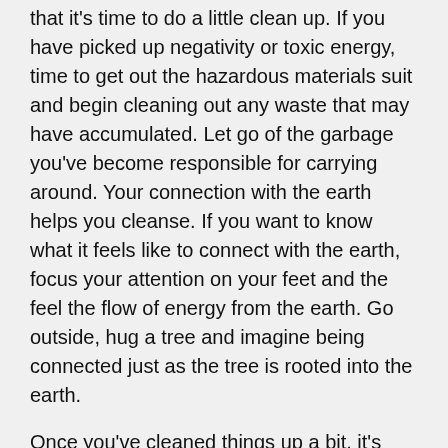that it's time to do a little clean up. If you have picked up negativity or toxic energy, time to get out the hazardous materials suit and begin cleaning out any waste that may have accumulated. Let go of the garbage you've become responsible for carrying around. Your connection with the earth helps you cleanse. If you want to know what it feels like to connect with the earth, focus your attention on your feet and the feel the flow of energy from the earth. Go outside, hug a tree and imagine being connected just as the tree is rooted into the earth.
Once you've cleaned things up a bit, it's time to shine it up! Take a deep breath, bring your attention back to you and feel your connection with the earth. Then allow the biggest, brightest most illuminating sun you can imagine to shine on you! Feel its warmth on your face! Feel the rays permeate every cell in your body! Allow yourself to bud, grow and